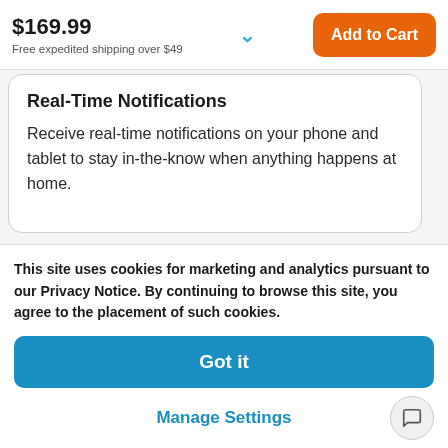$169.99
Free expedited shipping over $49
Add to Cart
Real-Time Notifications
Receive real-time notifications on your phone and tablet to stay in-the-know when anything happens at home.
This site uses cookies for marketing and analytics pursuant to our Privacy Notice. By continuing to browse this site, you agree to the placement of such cookies.
Got it
Manage Settings